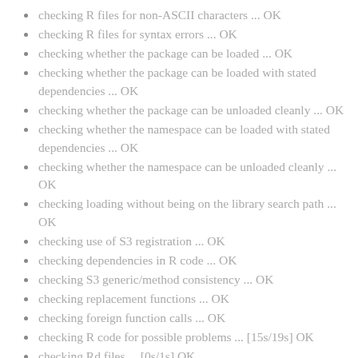checking R files for non-ASCII characters ... OK
checking R files for syntax errors ... OK
checking whether the package can be loaded ... OK
checking whether the package can be loaded with stated dependencies ... OK
checking whether the package can be unloaded cleanly ... OK
checking whether the namespace can be loaded with stated dependencies ... OK
checking whether the namespace can be unloaded cleanly ... OK
checking loading without being on the library search path ... OK
checking use of S3 registration ... OK
checking dependencies in R code ... OK
checking S3 generic/method consistency ... OK
checking replacement functions ... OK
checking foreign function calls ... OK
checking R code for possible problems ... [15s/19s] OK
checking Rd files ... [0s/1s] OK
checking Rd metadata ... OK
checking Rd line widths ... OK
checking Rd cross-references ... OK
checking for missing documentation entries ... OK
checking for code/documentation mismatches ... OK